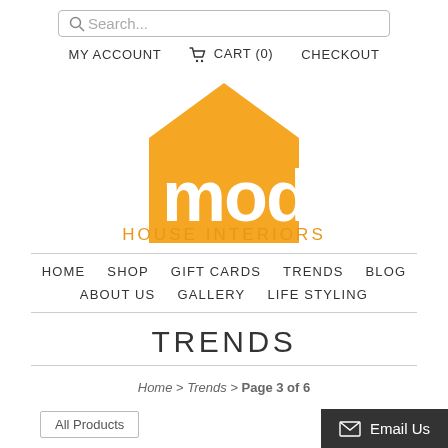Search... | MY ACCOUNT | CART (0) | CHECKOUT
[Figure (logo): Mod House Interiors logo: orange house/pentagon shape with 'mod' text in white, and 'HOUSE INTERIORS' text below in orange]
HOME | SHOP | GIFT CARDS | TRENDS | BLOG | ABOUT US | GALLERY | LIFE STYLING
TRENDS
Home > Trends > Page 3 of 6
All Products